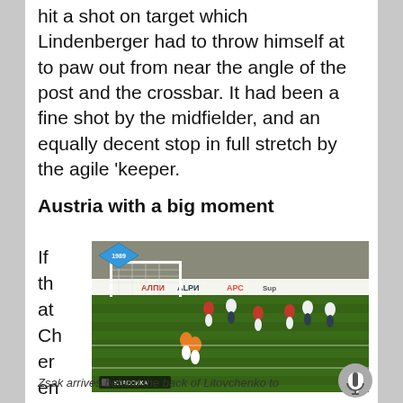hit a shot on target which Lindenberger had to throw himself at to paw out from near the angle of the post and the crossbar. It had been a fine shot by the midfielder, and an equally decent stop in full stretch by the agile 'keeper.
Austria with a big moment
If that Cherenkov po
[Figure (photo): Football match scene from 1989, showing players on a green pitch near the goal. A blue diamond-shaped logo with '1989' is visible, along with advertising hoardings including АЛПИ/ALPИ and other sponsors. A small overlay box reads 'КЛАССИКА'.]
Zsak arrives behind the back of Litovchenko to